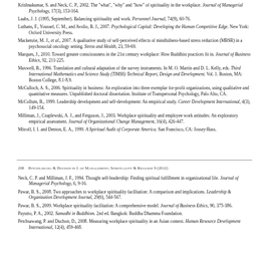Krishnakumar, S. and Neck, C. P., 2002. The "what", "why" and "how" of spirituality in the workplace. Journal of Managerial Psychology, 17(3), 153-164.
Laabs, J. J. (1995, September). Balancing spirituality and work. Personnel Journal, 74(9), 60-76.
Luthans, F., Youssef, C. M., and Avolio, B. J., 2007. Psychological Capital: Developing the Human Competitive Edge. New York: Oxford University Press.
Mackenzie, M. J., et al., 2007. A qualitative study of self-perceived effects of mindfulness-based stress reduction (MBSR) in a psychosocial oncology setting. Stress and Health, 23, 59-69.
Marques, J., 2010. Toward greater consciousness in the 21st century workplace: How Buddhist practices fit in. Journal of Business Ethics, 92, 211-225.
Maxwell, B., 1996. Translation and cultural adaptation of the survey instruments. In M. O. Martin and D. L. Kelly, eds. Third International Mathematics and Science Study (TIMSS) Technical Report, Design and Development. Vol. 1. Boston, MA: Boston College, 8.1-8.9.
McCulloch, A. S., 2006. Spirituality in business: An exploration into three exemplar for-profit organizations, using qualitative and quantitative measures. Unpublished doctoral dissertation. Institute of Transpersonal Psychology, Palo Alto, CA.
McCollum, B., 1999. Leadership development and self-development: An empirical study. Career Development International, 4(3), 149-154.
Milliman, J., Czaplewski, A. J., and Ferguson, J., 2003. Workplace spirituality and employee work attitudes: An exploratory empirical assessment. Journal of Organizational Change Management, 16(4), 426-447.
Mitroff, I. I. and Denton, E. A., 1999. A Spiritual Audit of Corporate America. San Francisco, CA: Jossey-Bass.
208   Petchsawang & Duchon in J. of Management, Spirituality & Religion 9 (2012)
Neck, C. P. and Milliman, J. F., 1994. Thought self-leadership: Finding spiritual fulfillment in organizational life. Journal of Managerial Psychology, 6, 9-16.
Pawar, B. S., 2008. Two approaches to workplace spirituality facilitation: A comparison and implications. Leadership & Organization Development Journal, 29(6), 544-567.
Pawar, B. S., 2009. Workplace spirituality facilitation: A comprehensive model. Journal of Business Ethics, 90, 375-386.
Payutto, P. A., 2002. Samadhi in Buddhism. 2nd ed. Bangkok: Buddha Dhamma Foundation.
Petchsawang, P. and Duchon, D., 2008. Measuring workplace spirituality in an Asian context. Human Resource Development International, 12(4), 459-468.